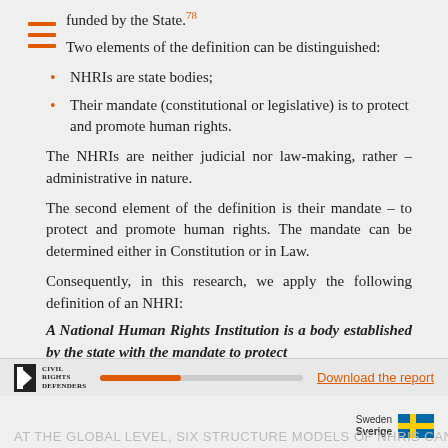funded by the State.78
Two elements of the definition can be distinguished:
NHRIs are state bodies;
Their mandate (constitutional or legislative) is to protect and promote human rights.
The NHRIs are neither judicial nor law-making, rather – administrative in nature.
The second element of the definition is their mandate – to protect and promote human rights. The mandate can be determined either in Constitution or in Law.
Consequently, in this research, we apply the following definition of an NHRI:
A National Human Rights Institution is a body established by the state with the mandate to protect
Civil Rights Defenders | Download the report | Sweden Sverige